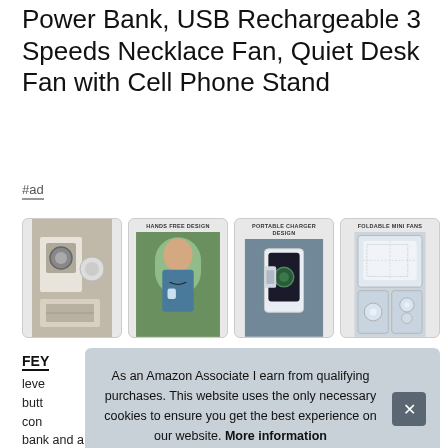Power Bank, USB Rechargeable 3 Speeds Necklace Fan, Quiet Desk Fan with Cell Phone Stand
#ad
[Figure (photo): Four product images showing: 1) product unboxing with fan and accessories, 2) woman wearing necklace fan outdoors labeled HANDS FREE DESIGN, 3) portable charger design with phone, labeled PORTABLE CHARGER DESIGN, 4) foldable mini fans dimensions labeled FOLDABLE MINI FANS]
FEY
leve
butt
con
bank and a cell phone stand for desk
As an Amazon Associate I earn from qualifying purchases. This website uses the only necessary cookies to ensure you get the best experience on our website. More information